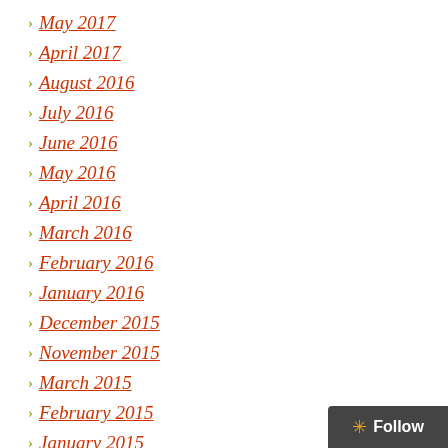May 2017
April 2017
August 2016
July 2016
June 2016
May 2016
April 2016
March 2016
February 2016
January 2016
December 2015
November 2015
March 2015
February 2015
January 2015